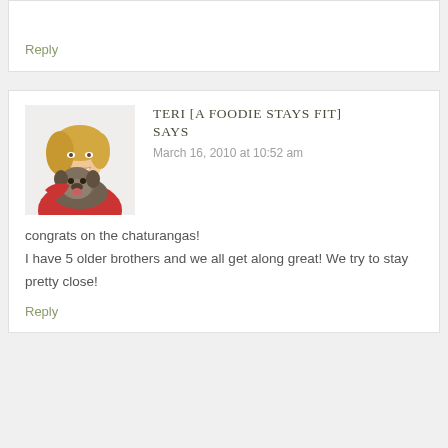Reply
TERI [A FOODIE STAYS FIT] SAYS
March 16, 2010 at 10:52 am
[Figure (photo): Photo of a woman with blonde hair wearing a red top, smiling and holding a dog (bulldog)]
congrats on the chaturangas! I have 5 older brothers and we all get along great! We try to stay pretty close!
Reply